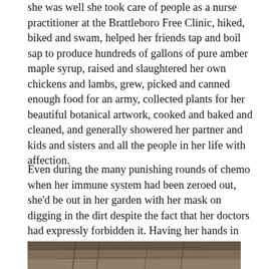she was well she took care of people as a nurse practitioner at the Brattleboro Free Clinic, hiked, biked and swam, helped her friends tap and boil sap to produce hundreds of gallons of pure amber maple syrup, raised and slaughtered her own chickens and lambs, grew, picked and canned enough food for an army, collected plants for her beautiful botanical artwork, cooked and baked and cleaned, and generally showered her partner and kids and sisters and all the people in her life with affection.
Even during the many punishing rounds of chemo when her immune system had been zeroed out, she'd be out in her garden with her mask on digging in the dirt despite the fact that her doctors had expressly forbidden it. Having her hands in the earth made her feel alive and that's a pretty powerful medicine.
[Figure (photo): Partially visible outdoor photograph, appears to show a garden or natural outdoor scene, cropped at bottom of page.]